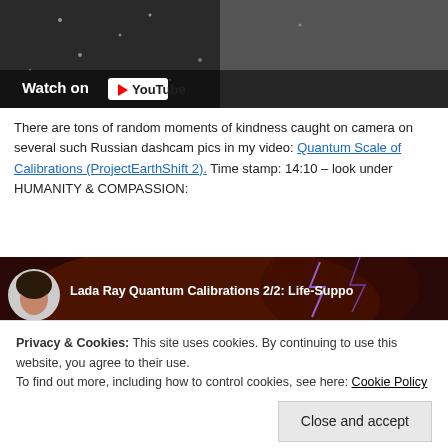[Figure (screenshot): YouTube video thumbnail showing a dark snowy scene with 'Watch on YouTube' overlay button]
There are tons of random moments of kindness caught on camera on several such Russian dashcam pics in my video: Quantum Scale of Calibrations (ProjectEarthShift 2). Time stamp: 14:10 – look under HUMANITY & COMPASSION:
[Figure (screenshot): YouTube video thumbnail for 'Lada Ray Quantum Calibrations 2/2: Life-Suppo...' with avatar of dark-haired woman on orange/cosmic background]
Privacy & Cookies: This site uses cookies. By continuing to use this website, you agree to their use.
To find out more, including how to control cookies, see here: Cookie Policy
[Close and accept button]